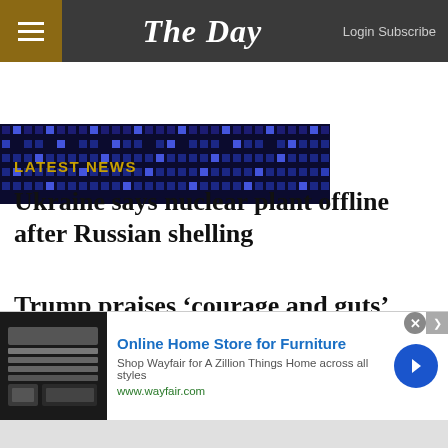The Day — Login Subscribe
[Figure (screenshot): Partial hero image with dark blue pixel grid pattern]
LATEST NEWS
Ukraine says nuclear plant offline after Russian shelling
Trump praises ‘courage and guts’ after judge agrees to special master in secret document review
[Figure (infographic): Wayfair advertisement: Online Home Store for Furniture. Shop Wayfair for A Zillion Things Home across all styles. www.wayfair.com]